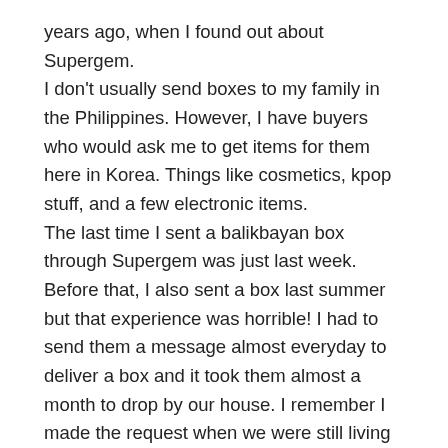years ago, when I found out about Supergem. I don't usually send boxes to my family in the Philippines. However, I have buyers who would ask me to get items for them here in Korea. Things like cosmetics, kpop stuff, and a few electronic items. The last time I sent a balikbayan box through Supergem was just last week. Before that, I also sent a box last summer but that experience was horrible! I had to send them a message almost everyday to deliver a box and it took them almost a month to drop by our house. I remember I made the request when we were still living at our old apartment. We already moved to our current apartment before they dropped the requested box. Anyway, my last experience with them was super fast. I sent them a text message to bring me two boxes: jumbo